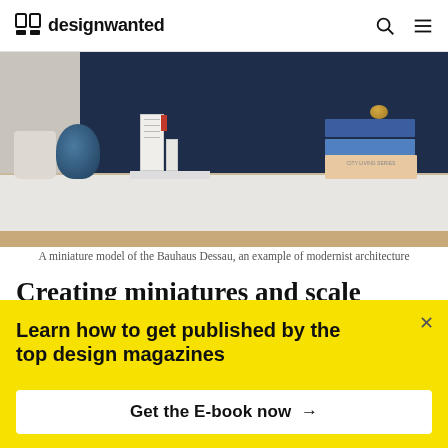designwanted
[Figure (photo): A desk scene with a blue vase, white architectural miniature model of Bauhaus Dessau, and a stack of books against a dark navy background]
A miniature model of the Bauhaus Dessau, an example of modernist architecture
Creating miniatures and scale models of buildings and cityscapes, which architects and architectural movements are you most inspired by / influenced by?
Learn how to get published by the top design magazines
Get the E-book now →